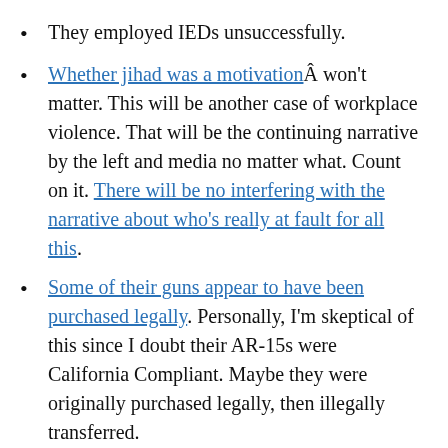They employed IEDs unsuccessfully.
Whether jihad was a motivationÂ won't matter. This will be another case of workplace violence. That will be the continuing narrative by the left and media no matter what. Count on it. There will be no interfering with the narrative about who’s really at fault for all this.
Some of their guns appear to have been purchased legally. Personally, I’m skeptical of this since I doubt their AR-15s were California Compliant. Maybe they were originally purchased legally, then illegally transferred.
The media has invented a new term “assault clothing.” No really, it’s a thing now.